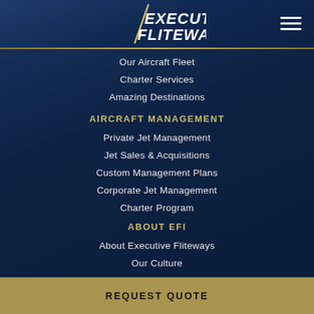[Figure (logo): Executive Fliteways logo — stylized text with diagonal slash mark, white/gold on dark blue background]
Our Aircraft Fleet
Charter Services
Amazing Destinations
AIRCRAFT MANAGEMENT
Private Jet Management
Jet Sales & Acquisitions
Custom Management Plans
Corporate Jet Management
Charter Program
ABOUT EFI
About Executive Fliteways
Our Culture
REQUEST QUOTE